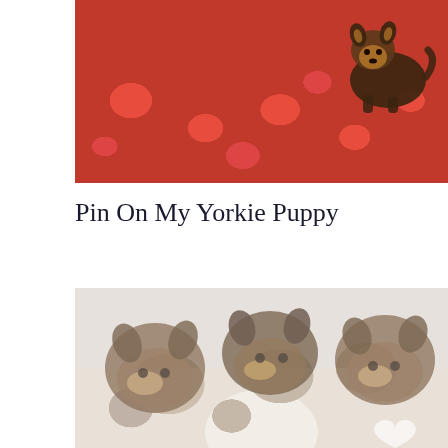[Figure (photo): A Yorkshire Terrier puppy sitting on a red blanket/fabric with heart patterns. The puppy has dark brown and tan coloring typical of Yorkies.]
Pin On My Yorkie Puppy
[Figure (photo): Three Yorkshire Terrier puppies being held in someone's hands. The puppies are dark brown/black with tan markings. There is a soft glowing heart shape visible in the lower right of the image. The image has a soft, slightly faded/light quality.]